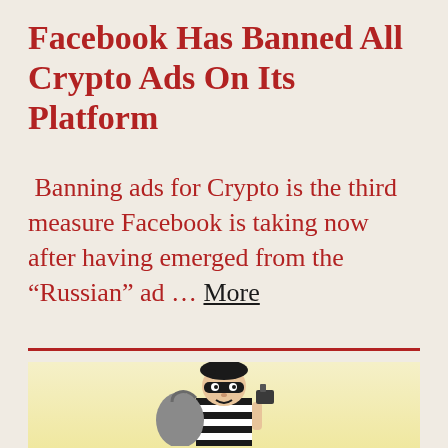Facebook Has Banned All Crypto Ads On Its Platform
Banning ads for Crypto is the third measure Facebook is taking now after having emerged from the “Russian” ad … More
[Figure (illustration): Cartoon illustration of a thief/burglar character wearing a black and white striped shirt, black mask across eyes, black beret, carrying a large grey swag bag over one shoulder and holding something in their other hand. Set against a pale yellow gradient background.]